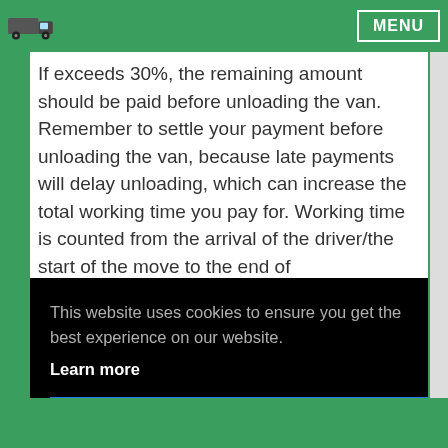MENU
If exceeds 30%, the remaining amount should be paid before unloading the van. Remember to settle your payment before unloading the van, because late payments will delay unloading, which can increase the total working time you pay for. Working time is counted from the arrival of the driver/the start of the move to the end of unloading/the end of work.
If the work takes longer, the price is updated by the driver and the customer gets updates with a link to
This website uses cookies to ensure you get the best experience on our website.
Learn more
Got it!